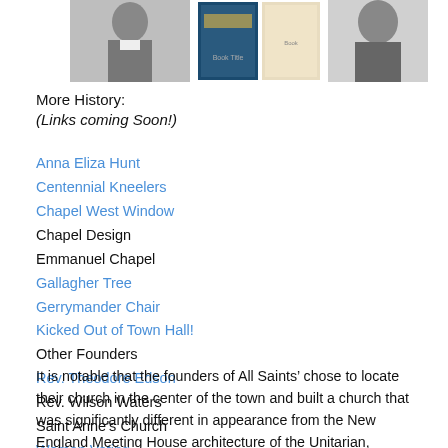[Figure (photo): A strip of historical images including a portrait of a man in 19th century clothing on the left, book covers in the center, and a portrait of another man on the right.]
More History:
(Links coming Soon!)
Anna Eliza Hunt
Centennial Kneelers
Chapel West Window
Chapel Design
Emmanuel Chapel
Gallagher Tree
Gerrymander Chair
Kicked Out of Town Hall!
Other Founders
Rev. Theodore Edson
Rev. Wilson Waters
Saint Anne’s Church
Women Voting
It is notable that the founders of All Saints’ chose to locate their church in the center of the town and built a church that was significantly different in appearance from the New England Meeting House architecture of the Unitarian, Baptist and Congregational churches also in the Center. The church the founders built had the